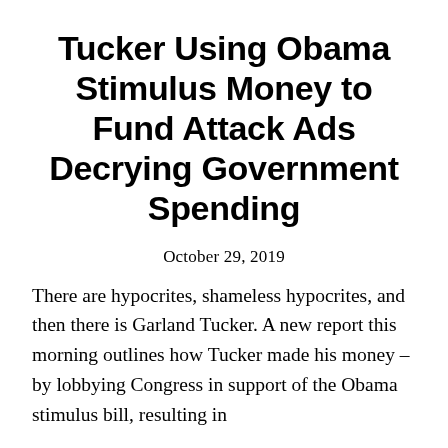Tucker Using Obama Stimulus Money to Fund Attack Ads Decrying Government Spending
October 29, 2019
There are hypocrites, shameless hypocrites, and then there is Garland Tucker. A new report this morning outlines how Tucker made his money – by lobbying Congress in support of the Obama stimulus bill, resulting in